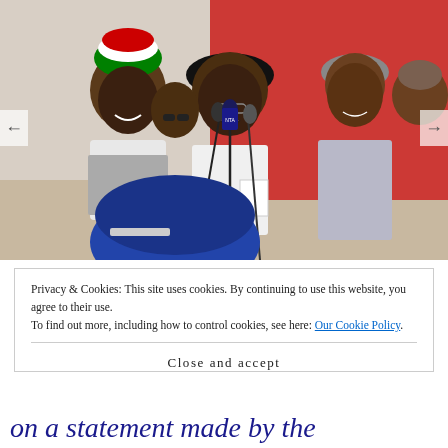[Figure (photo): Political rally scene showing three men at microphones on a stage. Center man in black hat and white outfit speaks into multiple microphones, holding papers. Left man wears colorful hat in Nigerian flag colors. Right man in grey traditional attire. Blue cap visible in foreground. Red and white banner in background.]
Privacy & Cookies: This site uses cookies. By continuing to use this website, you agree to their use.
To find out more, including how to control cookies, see here: Our Cookie Policy
Close and accept
on a statement made by the